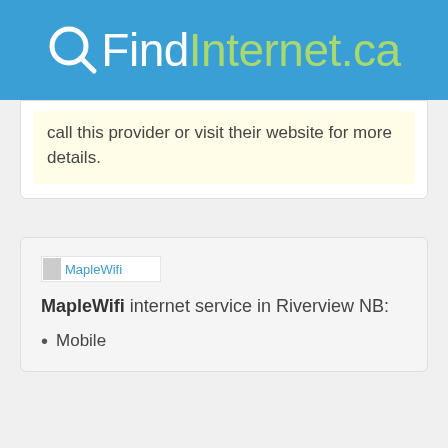QFindInternet.ca
call this provider or visit their website for more details.
[Figure (logo): MapleWifi logo image placeholder]
MapleWifi internet service in Riverview NB:
Mobile